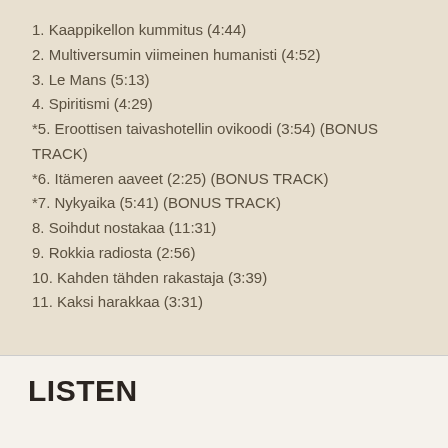1. Kaappikellon kummitus (4:44)
2. Multiversumin viimeinen humanisti (4:52)
3. Le Mans (5:13)
4. Spiritismi (4:29)
*5. Eroottisen taivashotellin ovikoodi (3:54) (BONUS TRACK)
*6. Itämeren aaveet (2:25) (BONUS TRACK)
*7. Nykyaika (5:41) (BONUS TRACK)
8. Soihdut nostakaa (11:31)
9. Rokkia radiosta (2:56)
10. Kahden tähden rakastaja (3:39)
11. Kaksi harakkaa (3:31)
LISTEN